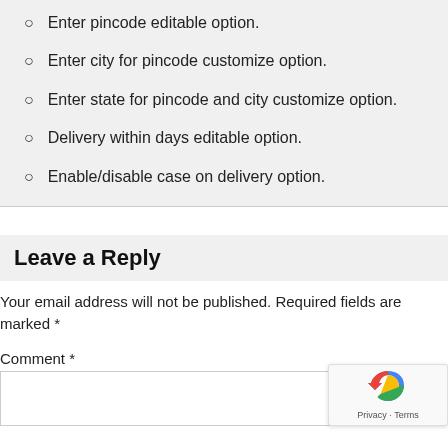Enter pincode editable option.
Enter city for pincode customize option.
Enter state for pincode and city customize option.
Delivery within days editable option.
Enable/disable case on delivery option.
Leave a Reply
Your email address will not be published. Required fields are marked *
Comment *